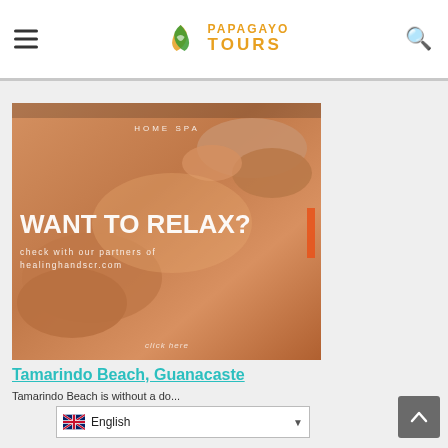Papagayo Tours — navigation header with hamburger menu and search icon
[Figure (photo): Spa massage photo advertisement. A person receiving a back massage. Overlay text reads: HOME SPA / WANT TO RELAX? / check with our partners of healinghandscr.com / click here]
Tamarindo Beach, Guanacaste
Tamarindo Beach is without a do...
English (language selector with UK flag)